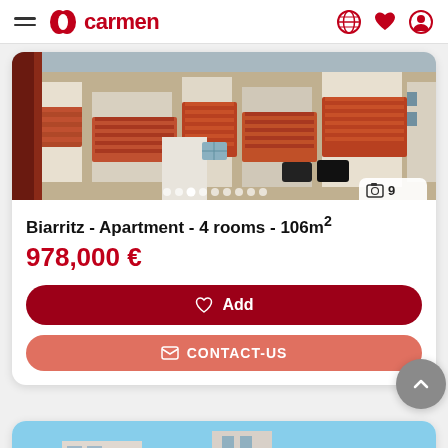Carmen real estate app header with logo, hamburger menu, globe, heart, and user icons
[Figure (photo): Aerial view of Biarritz rooftops with orange/red terracotta tiles, white buildings, cars parked below, photo counter showing 9 images]
Biarritz - Apartment - 4 rooms - 106m²
978,000 €
Add
CONTACT-US
[Figure (photo): Partial view of a second property listing card showing a blue sky and building facade]